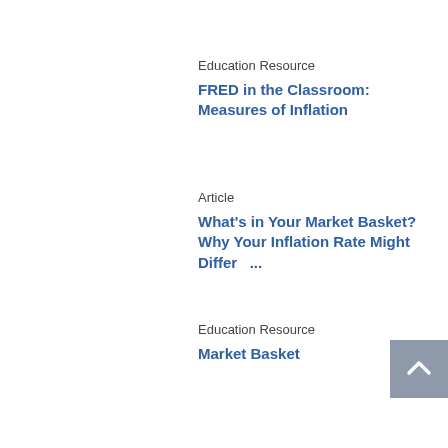Education Resource
FRED in the Classroom: Measures of Inflation
Article
What's in Your Market Basket? Why Your Inflation Rate Might Differ   ...
Education Resource
Market Basket